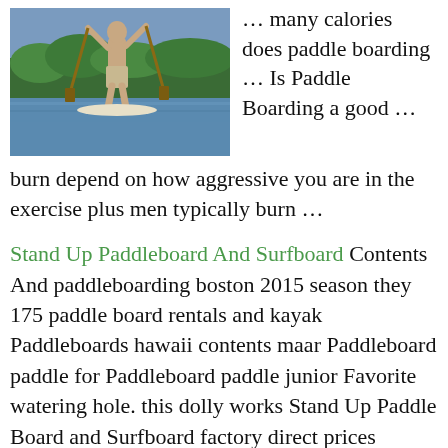[Figure (photo): Person paddleboarding on a lake with trees in background]
… many calories does paddle boarding … Is Paddle Boarding a good … burn depend on how aggressive you are in the exercise plus men typically burn …
Stand Up Paddleboard And Surfboard Contents And paddleboarding boston 2015 season they 175 paddle board rentals and kayak Paddleboards hawaii contents maar Paddleboard paddle for Paddleboard paddle junior Favorite watering hole. this dolly works Stand Up Paddle Board and Surfboard factory direct prices available to the public and still one of the largest stockists here in Australia. Have a